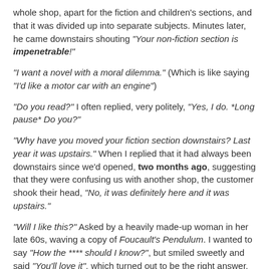whole shop, apart for the fiction and children's sections, and that it was divided up into separate subjects. Minutes later, he came downstairs shouting "Your non-fiction section is impenetrable!"
"I want a novel with a moral dilemma." (Which is like saying "I'd like a motor car with an engine")
"Do you read?" I often replied, very politely, "Yes, I do. *Long pause* Do you?"
"Why have you moved your fiction section downstairs? Last year it was upstairs." When I replied that it had always been downstairs since we'd opened, two months ago, suggesting that they were confusing us with another shop, the customer shook their head, "No, it was definitely here and it was upstairs."
"Will I like this?" Asked by a heavily made-up woman in her late 60s, waving a copy of Foucault's Pendulum. I wanted to say "How the **** should I know?", but smiled sweetly and said "You'll love it", which turned out to be the right answer.